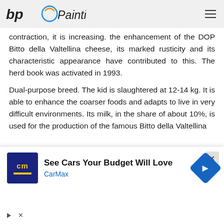bp Painting [logo]
contraction, it is increasing. the enhancement of the DOP Bitto della Valtellina cheese, its marked rusticity and its characteristic appearance have contributed to this. The herd book was activated in 1993.
Dual-purpose breed. The kid is slaughtered at 12-14 kg. It is able to enhance the coarser foods and adapts to live in very difficult environments. Its milk, in the share of about 10%, is used for the production of the famous Bitto della Valtellina
[Figure (other): Advertisement banner: CarMax - See Cars Your Budget Will Love, with CarMax logo and navigation icon]